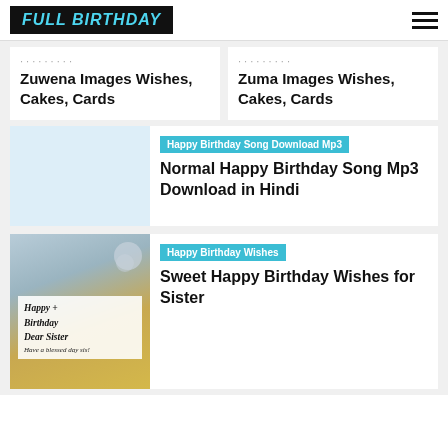FULL BIRTHDAY
Zuwena Images Wishes, Cakes, Cards
Zuma Images Wishes, Cakes, Cards
Happy Birthday Song Download Mp3
Normal Happy Birthday Song Mp3 Download in Hindi
[Figure (photo): Light blue placeholder image for Happy Birthday Song Mp3 article]
Happy Birthday Wishes
Sweet Happy Birthday Wishes for Sister
[Figure (photo): Photo of a birthday cake tart with colorful meringue peaks and a Happy Birthday Dear Sister card overlay reading Have a blessed day sis!]